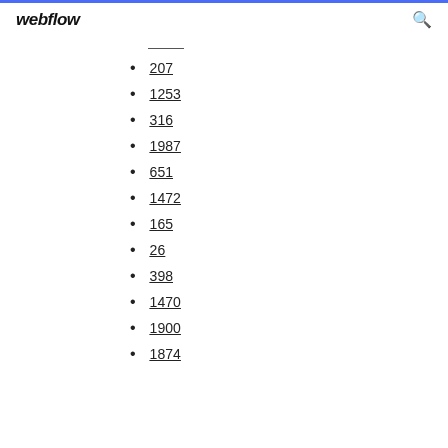webflow
207
1253
316
1987
651
1472
165
26
398
1470
1900
1874